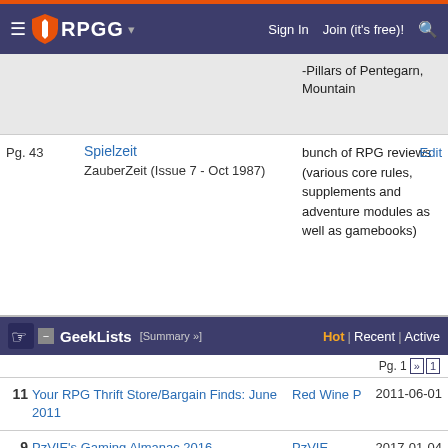RPGG — Sign In  Join (it's free)!
-Pillars of Pentegarn, Mountain
Spielzeit
ZauberZeit (Issue 7 - Oct 1987)
bunch of RPG reviews (various core rules, supplements and adventure modules as well as gamebooks)
GeekLists
Hot | Recent | Active
[Summary »]
Pg. 1
11  Your RPG Thrift Store/Bargain Finds: June 2011  Red Wine P  2011-06-01
9  PzVIE's Gaming Almanac 2016  PzVIE  2017-01-04
7  Secrets of the Ancients - a Traveller Campaign Report by Geeklist  bigfluffyl  2014-05-19